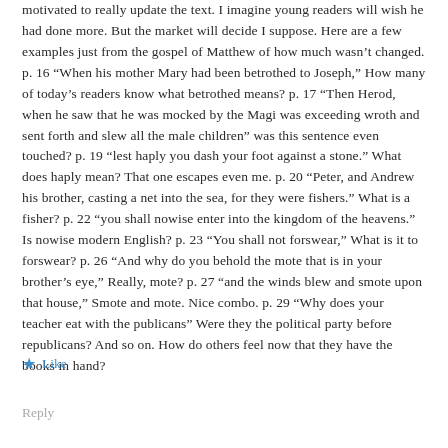motivated to really update the text. I imagine young readers will wish he had done more. But the market will decide I suppose. Here are a few examples just from the gospel of Matthew of how much wasn't changed. p. 16 “When his mother Mary had been betrothed to Joseph,” How many of today’s readers know what betrothed means? p. 17 “Then Herod, when he saw that he was mocked by the Magi was exceeding wroth and sent forth and slew all the male children” was this sentence even touched? p. 19 “lest haply you dash your foot against a stone.” What does haply mean? That one escapes even me. p. 20 “Peter, and Andrew his brother, casting a net into the sea, for they were fishers.” What is a fisher? p. 22 “you shall nowise enter into the kingdom of the heavens.” Is nowise modern English? p. 23 “You shall not forswear,” What is it to forswear? p. 26 “And why do you behold the mote that is in your brother’s eye,” Really, mote? p. 27 “and the winds blew and smote upon that house,” Smote and mote. Nice combo. p. 29 “Why does your teacher eat with the publicans” Were they the political party before republicans? And so on. How do others feel now that they have the books in hand?
★ Like
Reply